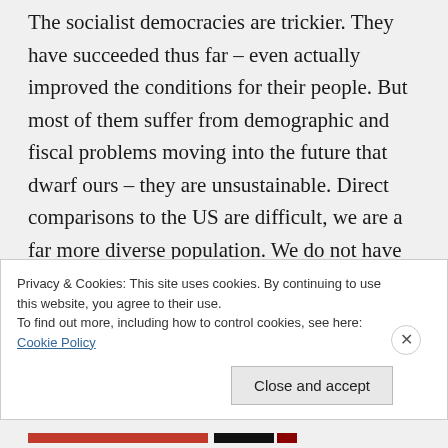The socialist democracies are trickier. They have succeeded thus far – even actually improved the conditions for their people. But most of them suffer from demographic and fiscal problems moving into the future that dwarf ours – they are unsustainable. Direct comparisons to the US are difficult, we are a far more diverse population. We do not have their cultural homogeneity – as
Privacy & Cookies: This site uses cookies. By continuing to use this website, you agree to their use.
To find out more, including how to control cookies, see here: Cookie Policy